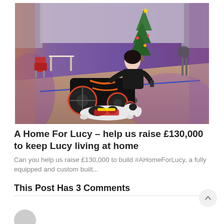[Figure (photo): A woman in a motorized wheelchair with red and orange accents is on a stage with purple lighting. A black and white dog wearing a red service vest lies at her feet. There is a Christmas tree and red chairs visible in the background.]
A Home For Lucy – help us raise £130,000 to keep Lucy living at home
Can you help us raise £130,000 to build #AHomeForLucy, a fully equipped and custom built...
This Post Has 3 Comments